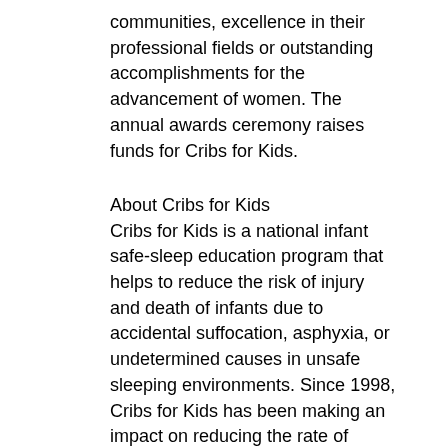communities, excellence in their professional fields or outstanding accomplishments for the advancement of women. The annual awards ceremony raises funds for Cribs for Kids.
About Cribs for Kids
Cribs for Kids is a national infant safe-sleep education program that helps to reduce the risk of injury and death of infants due to accidental suffocation, asphyxia, or undetermined causes in unsafe sleeping environments. Since 1998, Cribs for Kids has been making an impact on reducing the rate of infant sleep-related deaths by educating parents and caregivers on the importance of practicing safe sleep and providing portable cribs to families who otherwise cannot afford a safe place for their babies to sleep. Headquartered in Pittsburgh, PA, Cribs for Kids currently has more than 950+ partners throughout the United States